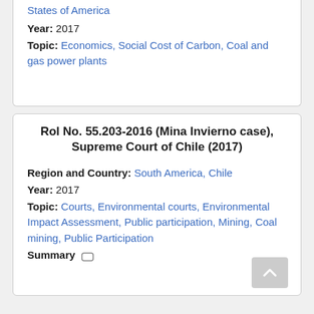States of America
Year: 2017
Topic: Economics, Social Cost of Carbon, Coal and gas power plants
Rol No. 55.203-2016 (Mina Invierno case), Supreme Court of Chile (2017)
Region and Country: South America, Chile
Year: 2017
Topic: Courts, Environmental courts, Environmental Impact Assessment, Public participation, Mining, Coal mining, Public Participation
Summary